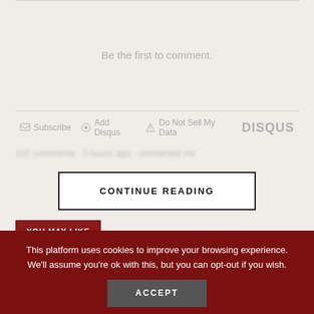Be the first to comment.
Subscribe  Add Disqus  Do Not Sell My Data  DISQUS
CONTINUE READING
YOU MAY LIKE
Reimagining a Nation: Kenya Not for
This platform uses cookies to improve your browsing experience. We'll assume you're ok with this, but you can opt-out if you wish.
ACCEPT